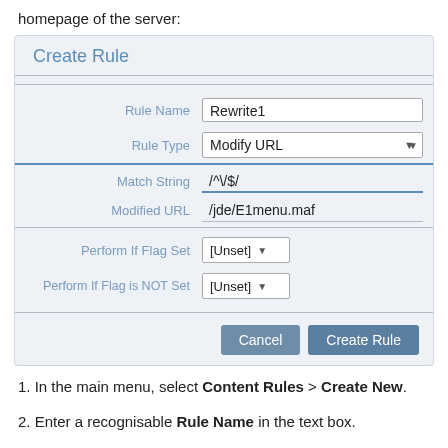homepage of the server:
[Figure (screenshot): Create Rule form panel with fields: Rule Name (Rewrite1), Rule Type (Modify URL dropdown), Match String (/^\/$/), Modified URL (/jde/E1menu.maf), Perform If Flag Set ([Unset] dropdown), Perform If Flag is NOT Set ([Unset] dropdown), and Cancel/Create Rule buttons.]
1. In the main menu, select Content Rules > Create New.
2. Enter a recognisable Rule Name in the text box.
3. Select Modify URL from the Rule Type drop-down list.
4. Enter /^\/$/  in the Match String text box.